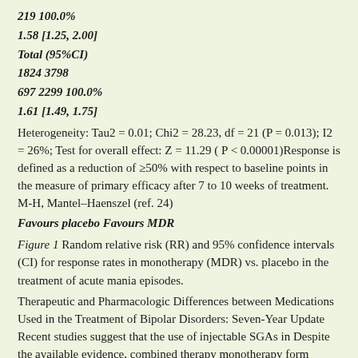219 100.0%
1.58 [1.25, 2.00]
Total (95%CI)
1824 3798
697 2299 100.0%
1.61 [1.49, 1.75]
Heterogeneity: Tau2 = 0.01; Chi2 = 28.23, df = 21 (P = 0.013); I2 = 26%; Test for overall effect: Z = 11.29 ( P < 0.00001)Response is defined as a reduction of ≥50% with respect to baseline points in the measure of primary efficacy after 7 to 10 weeks of treatment. M-H, Mantel–Haenszel (ref. 24)
Favours placebo Favours MDR
Figure 1 Random relative risk (RR) and 95% confidence intervals (CI) for response rates in monotherapy (MDR) vs. placebo in the treatment of acute mania episodes.
Therapeutic and Pharmacologic Differences between Medications Used in the Treatment of Bipolar Disorders: Seven-Year Update Recent studies suggest that the use of injectable SGAs in Despite the available evidence, combined therapy monotherapy form permit the control of acute manic continues to be the universally accepted method of episodes that is at least similar to that observed with treatment for manic patients not